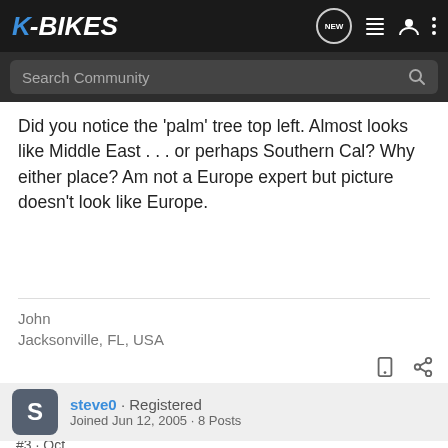K-BIKES
Search Community
Did you notice the 'palm' tree top left. Almost looks like Middle East . . . or perhaps Southern Cal? Why either place? Am not a Europe expert but picture doesn't look like Europe.
John
Jacksonville, FL, USA
steve0 · Registered
Joined Jun 12, 2005 · 8 Posts
#3 · Oct
Looks li